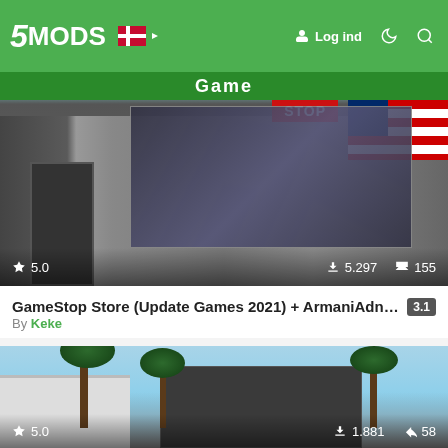5MODS — Log ind
[Figure (screenshot): GameStop store mod screenshot from GTA V showing a game store facade with game posters, Far Cry, Monuments, Mario, and a red STOP sign. Rating: 5.0, Downloads: 5,297, Likes: 155]
GameStop Store (Update Games 2021) + ArmaniAdnr N... 3.1
By Keke
[Figure (screenshot): Luxury building mod screenshot from GTA V showing a white and dark building with ornate columns, surrounded by palm trees under a blue sky. Rating: 5.0, Downloads: 1,881, Likes: 58]